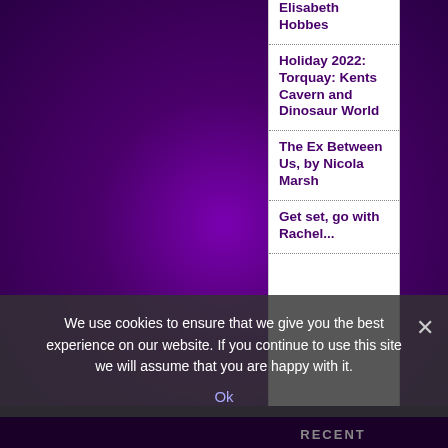Elisabeth Hobbes
Holiday 2022: Torquay: Kents Cavern and Dinosaur World
The Ex Between Us, by Nicola Marsh
Get set, go with Rachel...
We use cookies to ensure that we give you the best experience on our website. If you continue to use this site we will assume that you are happy with it.
Ok
RECENT